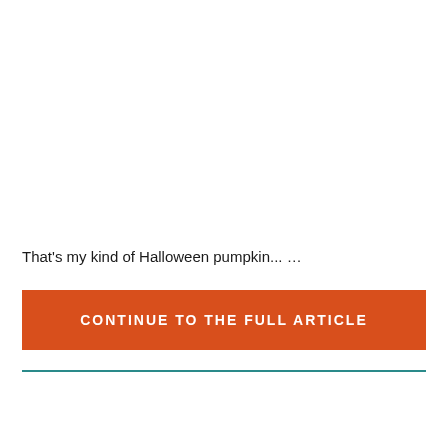That's my kind of Halloween pumpkin... …
CONTINUE TO THE FULL ARTICLE